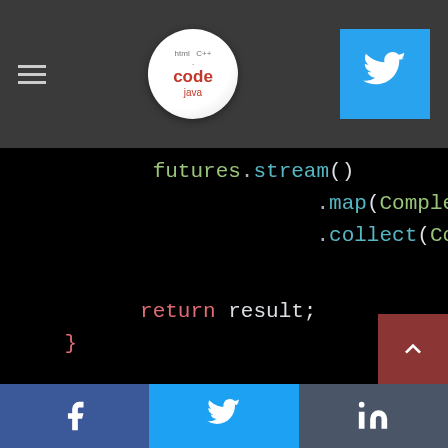code blog header with hamburger menu, logo, and Twitter button
[Figure (screenshot): Code snippet showing Java CompletableFuture usage: futures.stream() .map(CompletableFuture:: .collect(Collectors.toLi return result; } CompletableFuture<ToDo> getToDoAsync(String ... CompletableFuture<ToDo> future = Complet...]
Social share bar: Facebook, Twitter, LinkedIn